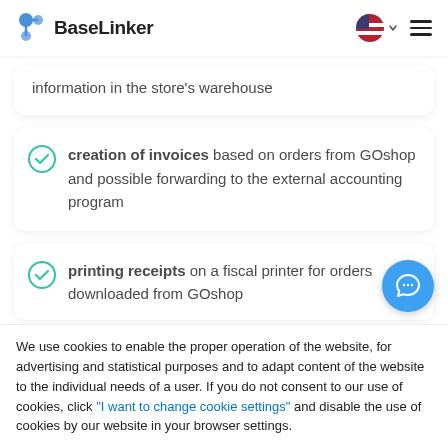BaseLinker
information in the store's warehouse
creation of invoices based on orders from GOshop and possible forwarding to the external accounting program
printing receipts on a fiscal printer for orders downloaded from GOshop
We use cookies to enable the proper operation of the website, for advertising and statistical purposes and to adapt content of the website to the individual needs of a user. If you do not consent to our use of cookies, click "I want to change cookie settings" and disable the use of cookies by our website in your browser settings.